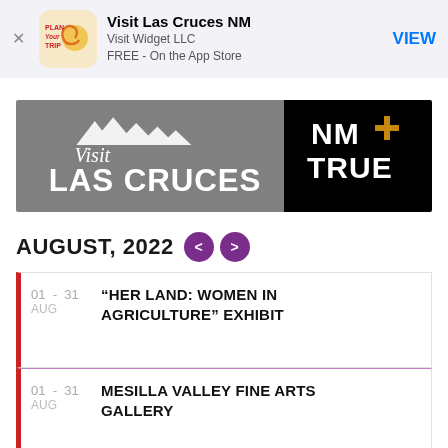[Figure (screenshot): App Store banner for Visit Las Cruces NM app by Visit Widget LLC, FREE on the App Store, with VIEW button]
[Figure (logo): Visit Las Cruces banner logo with grey left panel showing mountain silhouette and 'Visit LAS CRUCES' text, and black right panel with 'NM TRUE' and Zia sun symbol]
AUGUST, 2022
01 - 31 AUG  "HER LAND: WOMEN IN AGRICULTURE" EXHIBIT
01 - 31 AUG  MESILLA VALLEY FINE ARTS GALLERY